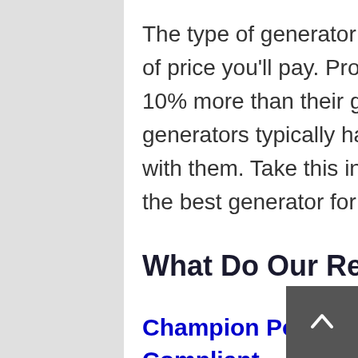The type of generator that you have also reflects the kind of price you'll pay. Propane generators are typically about 10% more than their gasoline counterparts. Inverter generators typically have a 50% price premium attached with them. Take this into consideration as you look to find the best generator for you.
What Do Our Reviews Have To Say?
Champion Power Equipment 1500-Watt, CARB Compliant